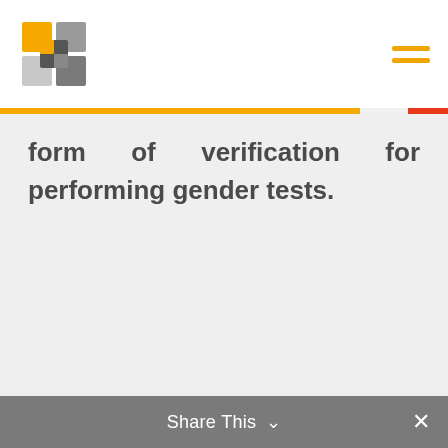[Figure (logo): Company logo with interlocking yellow and grey square shapes]
form of verification for performing gender tests.
Share This ∨  ✕